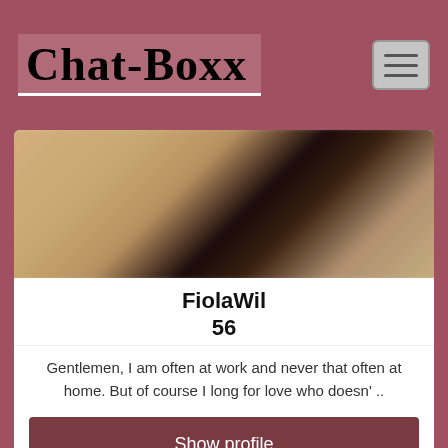Chat-Boxx
[Figure (photo): Blurred profile photo of FiolaWil showing a figure in dark clothing in a light-colored room]
FiolaWil
56
Gentlemen, I am often at work and never that often at home. But of course I long for love who doesn' ..
Show profile
Nopainnogain
57 |
I haven't found my pain threshold yet, my previous master managed to get pretty far, but he doesn't ..